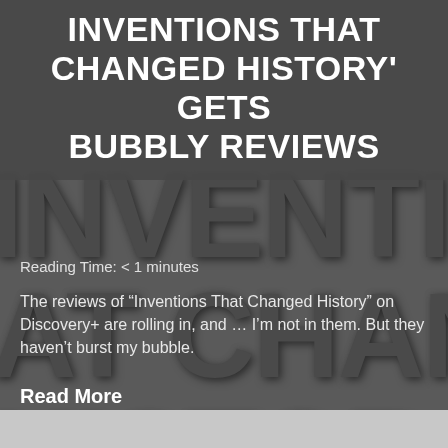INVENTIONS THAT CHANGED HISTORY' GETS BUBBLY REVIEWS
Reading Time: < 1 minutes
The reviews of “Inventions That Changed History” on Discovery+ are rolling in, and … I’m not in them. But they haven’t burst my bubble.
Read More
Share this:
[Figure (infographic): Five social sharing icon buttons: Twitter (blue), Facebook (blue), LinkedIn (blue), Print (grey), Email (grey)]